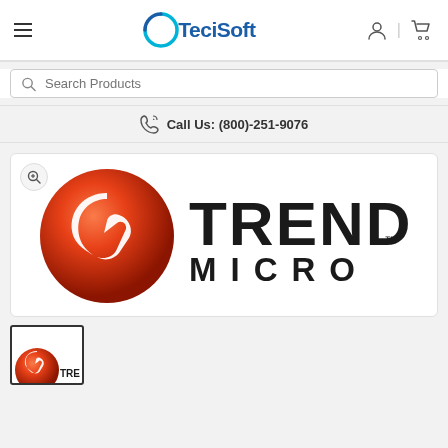[Figure (logo): TeciSoft website header with hamburger menu, TeciSoft logo (circular arc with bold text), user icon and cart icon]
Search Products
Call Us: (800)-251-9076
[Figure (logo): Trend Micro logo: red and white 3D sphere with arrow and 'T', bold text 'TREND MICRO™']
[Figure (logo): Thumbnail of Trend Micro logo (partially visible at bottom)]